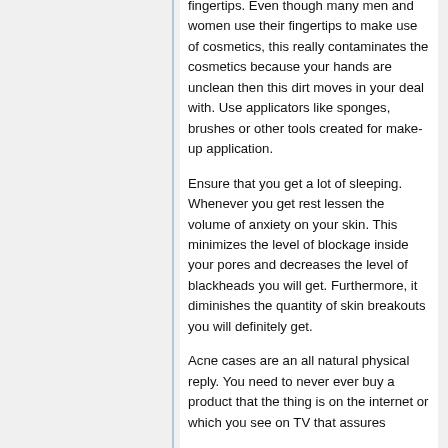fingertips. Even though many men and women use their fingertips to make use of cosmetics, this really contaminates the cosmetics because your hands are unclean then this dirt moves in your deal with. Use applicators like sponges, brushes or other tools created for make-up application.
Ensure that you get a lot of sleeping. Whenever you get rest lessen the volume of anxiety on your skin. This minimizes the level of blockage inside your pores and decreases the level of blackheads you will get. Furthermore, it diminishes the quantity of skin breakouts you will definitely get.
Acne cases are an all natural physical reply. You need to never ever buy a product that the thing is on the internet or which you see on TV that assures